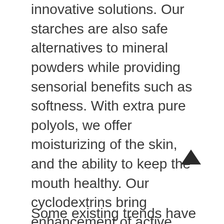innovative solutions. Our starches are also safe alternatives to mineral powders while providing sensorial benefits such as softness. With extra pure polyols, we offer moisturizing of the skin, and the ability to keep the mouth healthy. Our cyclodextrins bring enhancement of active ingredients' efficiency and make perfumes last longer. Finally, our plant-based polyhydroxyacid (PHA) deliver soft peeling and skin anti-imperfection properties.
Some existing trends have been greatly